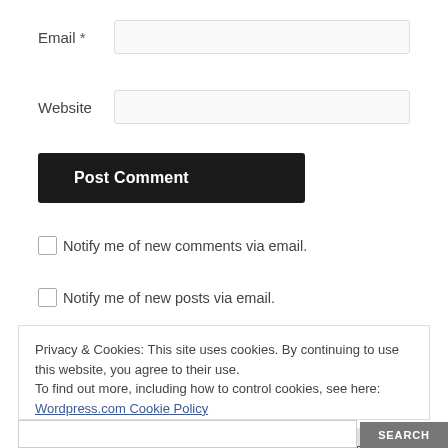Email *
Website
Post Comment
Notify me of new comments via email.
Notify me of new posts via email.
Privacy & Cookies: This site uses cookies. By continuing to use this website, you agree to their use.
To find out more, including how to control cookies, see here:
Wordpress.com Cookie Policy
Accept and Dismiss
SEARCH